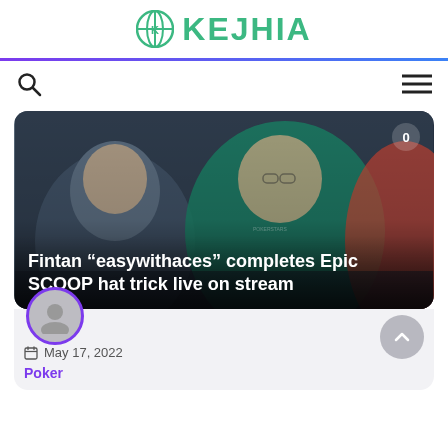KEJHIA
[Figure (photo): Photo of poker players at a table, man in green jacket smiling at camera, overlaid with article title text]
Fintan “easywithaces” completes Epic SCOOP hat trick live on stream
May 17, 2022
Poker